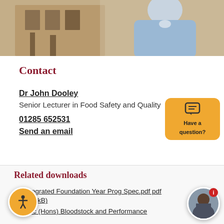[Figure (photo): Photo of Dr John Dooley, a man in a light blue shirt standing in front of a stone building]
Contact
Dr John Dooley
Senior Lecturer in Food Safety and Quality
01285 652531
Send an email
Related downloads
Integrated Foundation Year Prog Spec.pdf pdf (551kB)
BSc (Hons) Bloodstock and Performance Horse Management Programme Specification